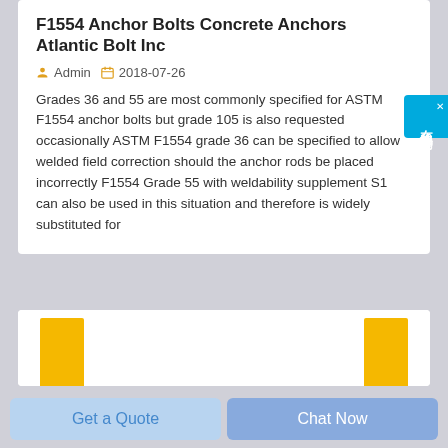F1554 Anchor Bolts Concrete Anchors Atlantic Bolt Inc
Admin   2018-07-26
Grades 36 and 55 are most commonly specified for ASTM F1554 anchor bolts but grade 105 is also requested occasionally ASTM F1554 grade 36 can be specified to allow welded field correction should the anchor rods be placed incorrectly F1554 Grade 55 with weldability supplement S1 can also be used in this situation and therefore is widely substituted for
[Figure (bar-chart): Partial view of a bar chart showing two tall yellow/orange bars on the left and right sides, chart is cropped at bottom]
Get a Quote
Chat Now